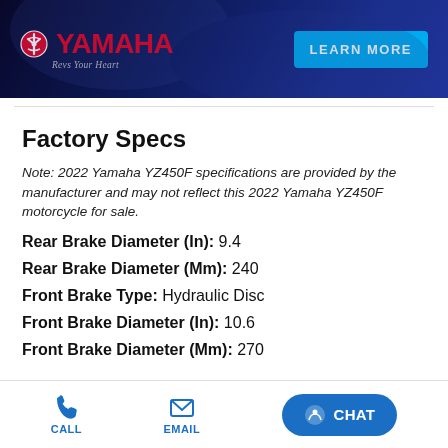[Figure (illustration): Yamaha banner advertisement with dark blue background, Yamaha logo with red tuning fork emblem, 'Revs Your Heart' tagline, and 'LEARN MORE' cyan button]
Factory Specs
Note: 2022 Yamaha YZ450F specifications are provided by the manufacturer and may not reflect this 2022 Yamaha YZ450F motorcycle for sale.
Rear Brake Diameter (In):  9.4
Rear Brake Diameter (Mm):  240
Front Brake Type:  Hydraulic Disc
Front Brake Diameter (In):  10.6
Front Brake Diameter (Mm):  270
CALL | EMAIL | CHAT